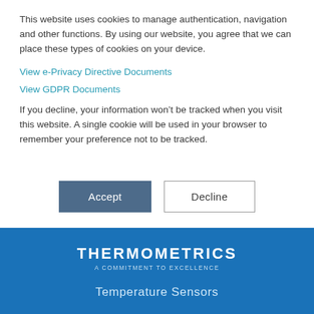This website uses cookies to manage authentication, navigation and other functions. By using our website, you agree that we can place these types of cookies on your device.
View e-Privacy Directive Documents
View GDPR Documents
If you decline, your information won’t be tracked when you visit this website. A single cookie will be used in your browser to remember your preference not to be tracked.
[Figure (screenshot): Two buttons: Accept (dark blue-grey filled) and Decline (white with border)]
THERMOMETRICS
A COMMITMENT TO EXCELLENCE
Temperature Sensors
[Figure (logo): Partial NOVA logo in light blue at the bottom of blue section]